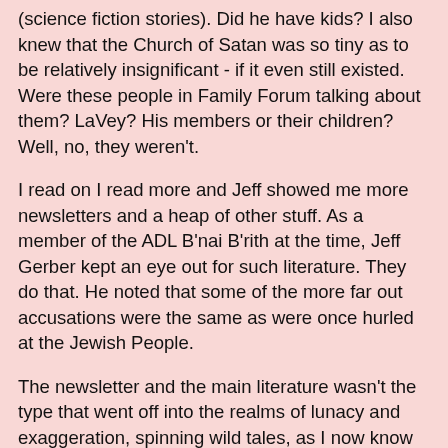(science fiction stories). Did he have kids? I also knew that the Church of Satan was so tiny as to be relatively insignificant - if it even still existed. Were these people in Family Forum talking about them? LaVey? His members or their children? Well, no, they weren't.
I read on I read more and Jeff showed me more newsletters and a heap of other stuff. As a member of the ADL B'nai B'rith at the time, Jeff Gerber kept an eye out for such literature. They do that. He noted that some of the more far out accusations were the same as were once hurled at the Jewish People.
The newsletter and the main literature wasn't the type that went off into the realms of lunacy and exaggeration, spinning wild tales, as I now know the typical SRA garbage did. It was presented in another manner. It mentioned the country, America, groups of people including Presidents, and well-known "conspiracies" (their word for this was "conspiracy"); it mentioned how the majority of Americans were NOT in favor of what the Founding Fathers did here and were NOT in favor of setting up a government where there was complete separation of church and state. It mentioned the Hell Fire Club that Freemason Ben Franklin was a member of, and other such things. It mentioned the "cults" that have always